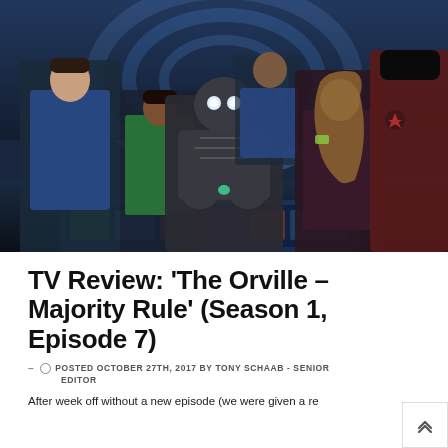[Figure (photo): Scene from The Orville TV show showing several characters including a robot/android in the center, a man in blue uniform on the left, a woman in green, a man in blue in background, a blonde woman, and a person in red uniform on the right, standing around what appears to be a control panel on a spaceship bridge.]
TV Review: ‘The Orville – Majority Rule’ (Season 1, Episode 7)
- POSTED OCTOBER 27TH, 2017 BY TONY SCHAAB - SENIOR EDITOR
After week off without a new episode (we were given a re